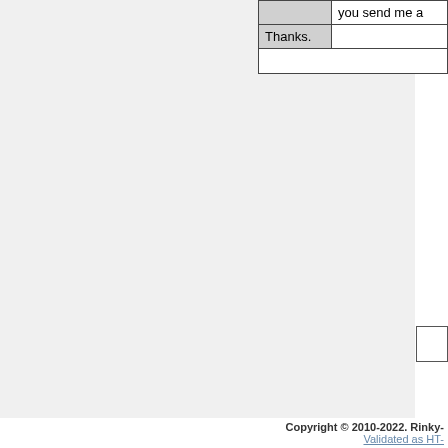|  | you send me a |
|  | Thanks. |
Copyright © 2010-2022. Rinky- | Validated as HT-